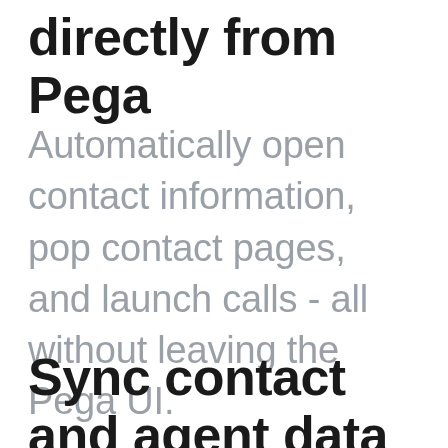directly from Pega
Automatically open contact information, pop contact pages, and launch calls - all without leaving the Pega UI.
Sync contact and agent data between Talkdesk and Pega